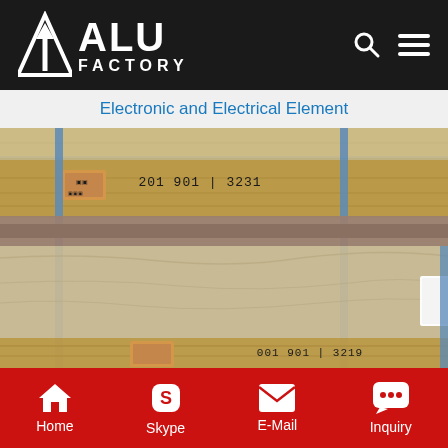[Figure (logo): ALU Factory logo - white text on black background with triangle/arrow icon]
Electronic and Electrical Element
[Figure (photo): Warehouse photo showing stacked pallets of aluminum sheets wrapped in plastic, secured with blue metal straps, with lot number labels visible: 201901132S1 and 001 901 32 19]
Home   Skype   E-Mail   Inquiry